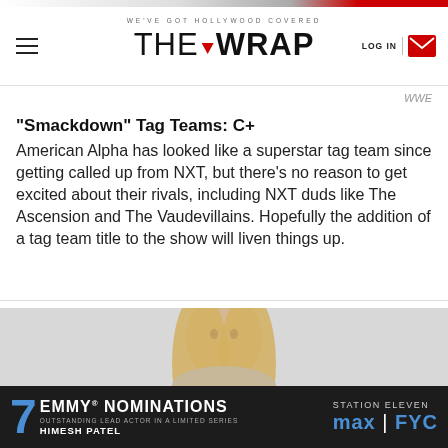WE'VE GOT HOLLYWOOD COVERED | THE WRAP | LOG IN
WWE
"Smackdown" Tag Teams: C+
American Alpha has looked like a superstar tag team since getting called up from NXT, but there's no reason to get excited about their rivals, including NXT duds like The Ascension and The Vaudevillains. Hopefully the addition of a tag team title to the show will liven things up.
[Figure (photo): Woman with long blonde hair holding a championship belt, WWE promotional photo]
7 EMMY NOMINATIONS STATION ELEVEN max | FYC OUTSTANDING LEAD ACTOR IN A LIMITED SERIES HIMESH PATEL